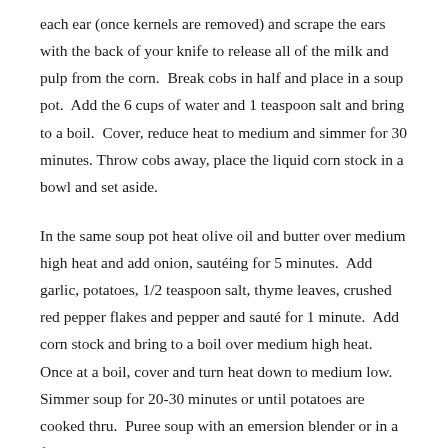each ear (once kernels are removed) and scrape the ears with the back of your knife to release all of the milk and pulp from the corn.  Break cobs in half and place in a soup pot.  Add the 6 cups of water and 1 teaspoon salt and bring to a boil.  Cover, reduce heat to medium and simmer for 30 minutes. Throw cobs away, place the liquid corn stock in a bowl and set aside.
In the same soup pot heat olive oil and butter over medium high heat and add onion, sautéing for 5 minutes.  Add garlic, potatoes, 1/2 teaspoon salt, thyme leaves, crushed red pepper flakes and pepper and sauté for 1 minute.  Add corn stock and bring to a boil over medium high heat.  Once at a boil, cover and turn heat down to medium low.  Simmer soup for 20-30 minutes or until potatoes are cooked thru.  Puree soup with an emersion blender or in a food processor or blender.
If using a food processor or blender return puree back to the pot, add the reserved pulp and milk from the cobs and simmer over medium heat